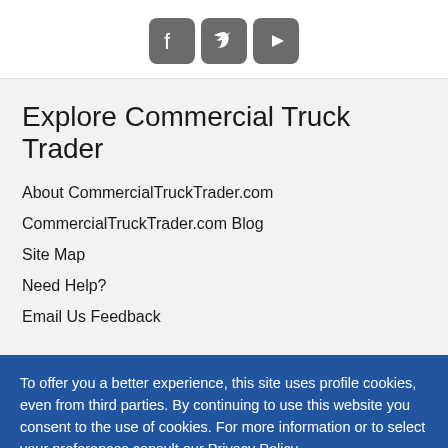[Figure (other): Social media icons: Facebook, Twitter, YouTube — each in a rounded gray square button]
Explore Commercial Truck Trader
About CommercialTruckTrader.com
CommercialTruckTrader.com Blog
Site Map
Need Help?
Email Us Feedback
To offer you a better experience, this site uses profile cookies, even from third parties. By continuing to use this website you consent to the use of cookies. For more information or to select your preferences consult our Privacy Policy
❯ Cookie Settings  ✓ OK  ✕